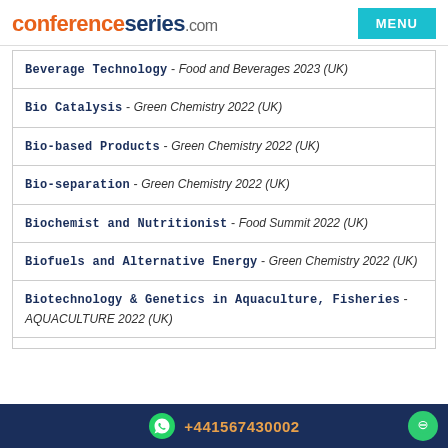conferenceseries.com
Beverage Technology - Food and Beverages 2023 (UK)
Bio Catalysis - Green Chemistry 2022 (UK)
Bio-based Products - Green Chemistry 2022 (UK)
Bio-separation - Green Chemistry 2022 (UK)
Biochemist and Nutritionist - Food Summit 2022 (UK)
Biofuels and Alternative Energy - Green Chemistry 2022 (UK)
Biotechnology & Genetics in Aquaculture, Fisheries - AQUACULTURE 2022 (UK)
+441567430002